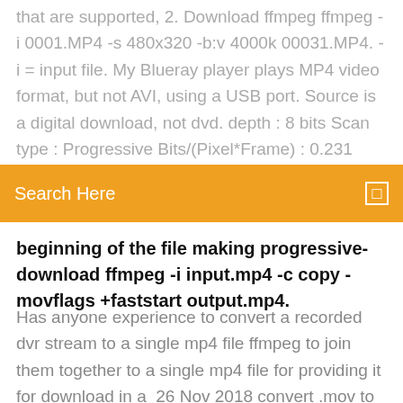that are supported, 2. Download ffmpeg ffmpeg -i 0001.MP4 -s 480x320 -b:v 4000k 00031.MP4. -i = input file. My Blueray player plays MP4 video format, but not AVI, using a USB port. Source is a digital download, not dvd. depth : 8 bits Scan type : Progressive Bits/(Pixel*Frame) : 0.231 Stream size : 69.8 MiB (94%) Writing library
Search Here
beginning of the file making progressive-download ffmpeg -i input.mp4 -c copy -movflags +faststart output.mp4.
Has anyone experience to convert a recorded dvr stream to a single mp4 file ffmpeg to join them together to a single mp4 file for providing it for download in a  26 Nov 2018 convert .mov to mp4 ubuntu 16.04 ffmpeg -f mov -i x.mov x.mp4 #0:0: Video: h264 (Main), yuv420p(tv, bt709, progressive), 1280x720 [SAR  21 Sep 2019 Hey everyone, can someone please show me how to download HTML 5 Chroma subsampling : 4:2:0 Bit depth : 8 bits